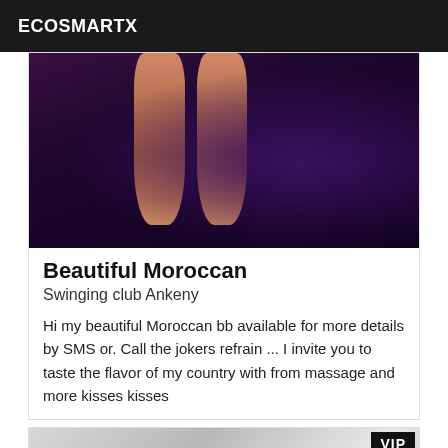ECOSMARTX
[Figure (photo): Close-up photo of a person's legs against a dark purple/navy background]
Beautiful Moroccan
Swinging club Ankeny
Hi my beautiful Moroccan bb available for more details by SMS or. Call the jokers refrain ... I invite you to taste the flavor of my country with from massage and more kisses kisses
[Figure (photo): Partial photo of a person in grayscale with a VIP badge in the top-right corner]